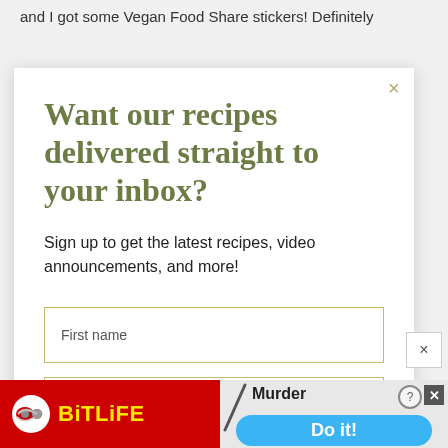and I got some Vegan Food Share stickers! Definitely
Want our recipes delivered straight to your inbox?
Sign up to get the latest recipes, video announcements, and more!
First name
Email address
Subscribe
[Figure (screenshot): BitLife advertisement banner at bottom with Murder Do it! call to action]